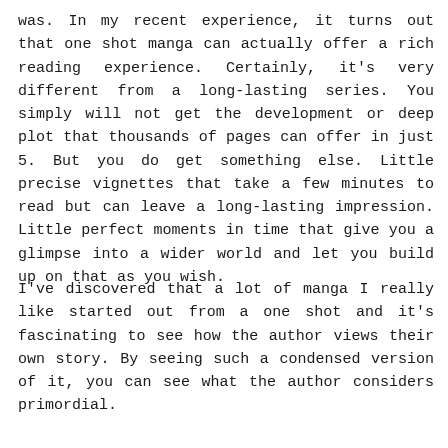was. In my recent experience, it turns out that one shot manga can actually offer a rich reading experience. Certainly, it's very different from a long-lasting series. You simply will not get the development or deep plot that thousands of pages can offer in just 5. But you do get something else. Little precise vignettes that take a few minutes to read but can leave a long-lasting impression. Little perfect moments in time that give you a glimpse into a wider world and let you build up on that as you wish.
I've discovered that a lot of manga I really like started out from a one shot and it's fascinating to see how the author views their own story. By seeing such a condensed version of it, you can see what the author considers primordial.